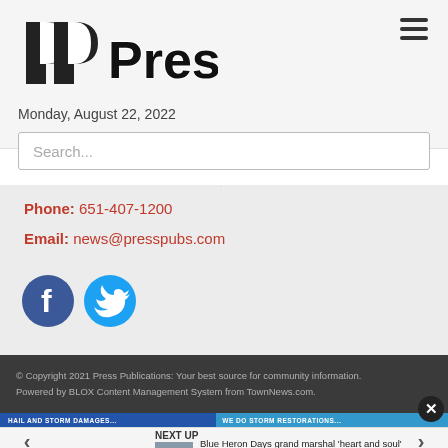[Figure (logo): Press Publications logo with stylized P letters and bold 'Press' text]
Monday, August 22, 2022
Search...
Phone: 651-407-1200
Email: news@presspubs.com
[Figure (illustration): Facebook icon (blue circle with white f) and Twitter icon (cyan circle with white bird)]
© Copyright 2021 Press Publications: Your best source for community information.
Powered by BLOX Content Management System from TownNews.com.
NEXT UP
Blue Heron Days grand marshal 'heart and soul' of Lino Lakes…